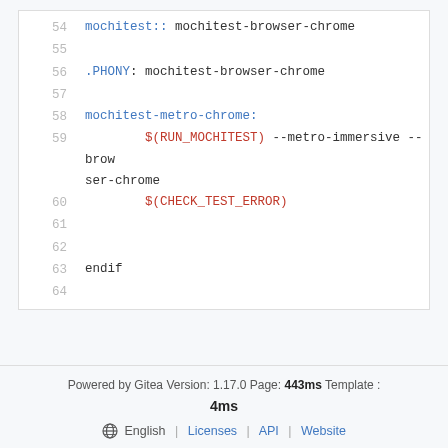54  mochitest:: mochitest-browser-chrome
55
56  .PHONY: mochitest-browser-chrome
57
58  mochitest-metro-chrome:
59          $(RUN_MOCHITEST) --metro-immersive --browser-chrome
60          $(CHECK_TEST_ERROR)
61
62
63  endif
64
Powered by Gitea Version: 1.17.0 Page: 443ms Template : 4ms
⊕ English | Licenses | API | Website